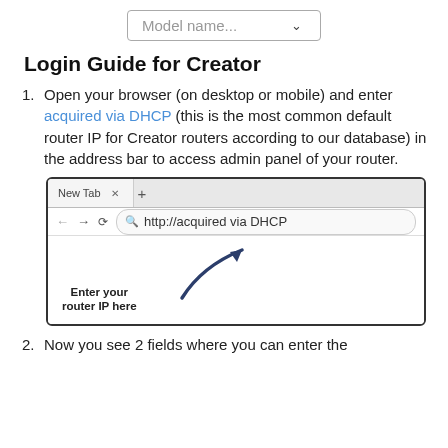[Figure (screenshot): Dropdown selector with placeholder text 'Model name...' and a chevron arrow]
Login Guide for Creator
Open your browser (on desktop or mobile) and enter acquired via DHCP (this is the most common default router IP for Creator routers according to our database) in the address bar to access admin panel of your router.
[Figure (screenshot): Browser screenshot showing address bar with 'http://acquired via DHCP' entered, with an arrow pointing to the address bar and label 'Enter your router IP here']
Now you see 2 fields where you can enter the